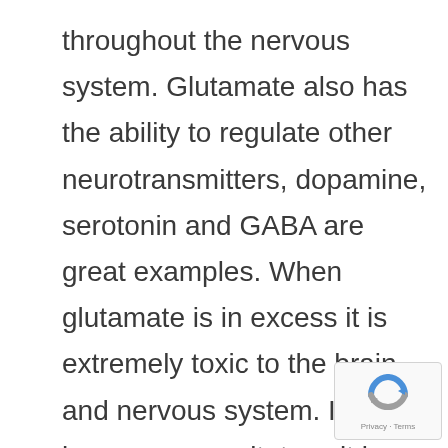throughout the nervous system. Glutamate also has the ability to regulate other neurotransmitters, dopamine, serotonin and GABA are great examples. When glutamate is in excess it is extremely toxic to the brain and nervous system. It can become so excitatory, it is considered a excitotoxin, which means that it overstimulates brain cells to the point of killing them or damaging them enough to cause severe mitochondrial dysfunction (associated with low muscle tone) and neurological inflammation. Excess glutamate is
[Figure (logo): reCAPTCHA badge with blue/grey circular arrow logo and 'Privacy - Terms' text]